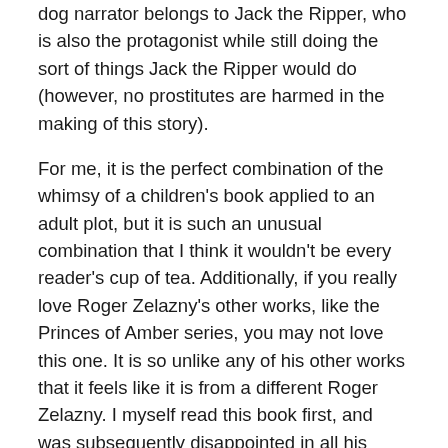dog narrator belongs to Jack the Ripper, who is also the protagonist while still doing the sort of things Jack the Ripper would do (however, no prostitutes are harmed in the making of this story).
For me, it is the perfect combination of the whimsy of a children's book applied to an adult plot, but it is such an unusual combination that I think it wouldn't be every reader's cup of tea. Additionally, if you really love Roger Zelazny's other works, like the Princes of Amber series, you may not love this one. It is so unlike any of his other works that it feels like it is from a different Roger Zelazny. I myself read this book first, and was subsequently disappointed in all his other works, which are much more serious, convoluted, and adult (less narrating dogs, too).
As you may have noticed, I haven't even touched on the